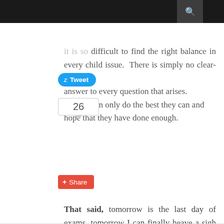difficult to find the right balance in every child issue. There is simply no clear-cut answer to every question that arises. Parents can only do the best they can and hope that they have done enough.
That said, tomorrow is the last day of exams, tomorrow I can finally heave a sigh of relief until the next quarter comes. Maybe several tomorrows after that, I can finally leave the studying to my children.